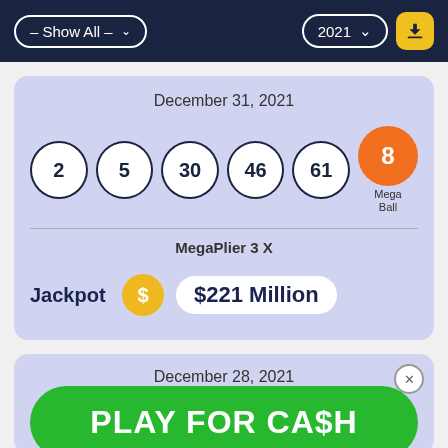– Show All –   2021
December 31, 2021
[Figure (infographic): Mega Millions lottery balls showing numbers 2, 5, 30, 46, 61 and Mega Ball 8 (orange)]
MegaPlier 3 X
Jackpot $221 Million
December 28, 2021
PLAY FOR CA$H
MegaPlier 3 X